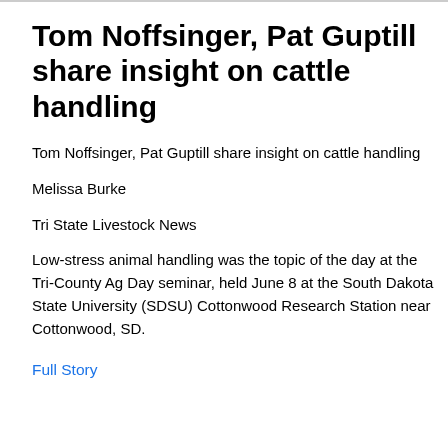Tom Noffsinger, Pat Guptill share insight on cattle handling
Tom Noffsinger, Pat Guptill share insight on cattle handling
Melissa Burke
Tri State Livestock News
Low-stress animal handling was the topic of the day at the Tri-County Ag Day seminar, held June 8 at the South Dakota State University (SDSU) Cottonwood Research Station near Cottonwood, SD.
Full Story